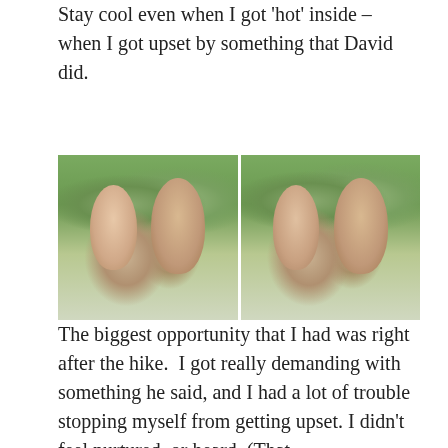Stay cool even when I got 'hot' inside – when I got upset by something that David did.
[Figure (photo): Two side-by-side photos of a man and woman outdoors on a hike in a wooded area. The woman wears a pink cap and smiles in the left photo; in the right photo her expression is more neutral. The man has curly dark hair and wears a dark blue shirt.]
The biggest opportunity that I had was right after the hike.  I got really demanding with something he said, and I had a lot of trouble stopping myself from getting upset. I didn't feel nurtured, or heard. (That